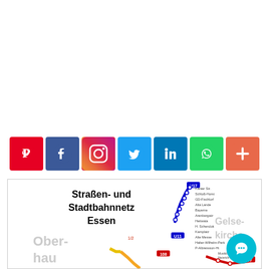[Figure (infographic): Row of social media share icons: Pinterest, Facebook, Instagram, Twitter, LinkedIn, WhatsApp, and a generic share (plus) button]
essen metro map
[Figure (map): Partial view of the Straßen- und Stadtbahnnetz Essen (Essen street and city rail network map) showing metro lines U17, U11, 108, and 107 with station names including Kanter Str., Schoß-Horst, GD-Fischotorf, Alta Lande, Bayerne, Arenbergatz, Heitwata, H. Schendok, Karnplatz, Alte Messa, Halter-Wilhelm-Park, P-Albreission-Ht, Gelsenkirchen, Musiktheater, Heinrich-König-Platz. Title: Straßen- und Stadtbahnnetz Essen. Also shows partial text: Ober- (hausen), and a teal chat/messenger button overlay.]